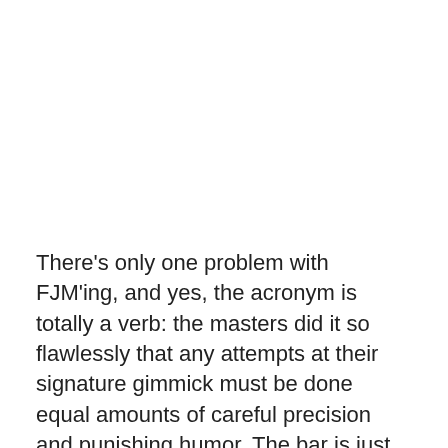There's only one problem with FJM'ing, and yes, the acronym is totally a verb: the masters did it so flawlessly that any attempts at their signature gimmick must be done equal amounts of careful precision and punishing humor. The bar is just set so damn high that any uninspiring tries to recapture their magic would only bring shame on the forefathers. That's why I'm not going to FJM Rick Telander's column in today's Sun-